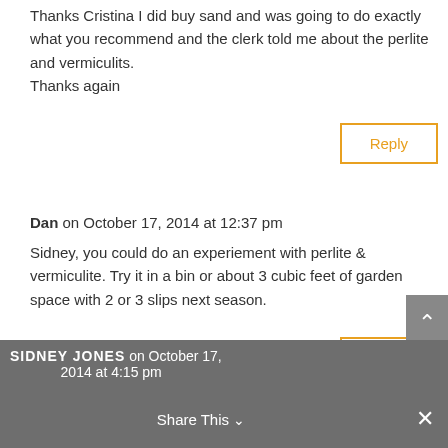Thanks Cristina I did buy sand and was going to do exactly what you recommend and the clerk told me about the perlite and vermiculits.
Thanks again
Reply
Dan on October 17, 2014 at 12:37 pm
Sidney, you could do an experiement with perlite & vermiculite. Try it in a bin or about 3 cubic feet of garden space with 2 or 3 slips next season.
Reply
SIDNEY JONES on October 17, 2014 at 4:15 pm
Share This